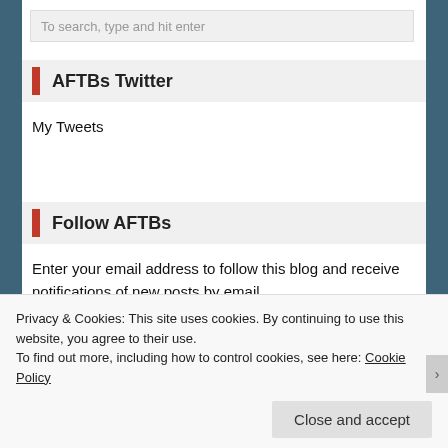To search, type and hit enter
AFTBs Twitter
My Tweets
Follow AFTBs
Enter your email address to follow this blog and receive notifications of new posts by email.
Enter your email address
Privacy & Cookies: This site uses cookies. By continuing to use this website, you agree to their use.
To find out more, including how to control cookies, see here: Cookie Policy
Close and accept